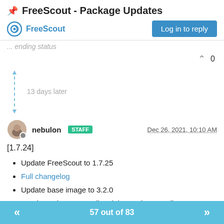📌 FreeScout - Package Updates
FreeScout | Log in to reply
... ending status
^ 0
13 days later
nebulon STAFF Dec 26, 2021, 10:10 AM
[1.7.24]
Update FreeScout to 1.7.25
Full changelog
Update base image to 3.2.0
Send attachments to all recipients when sending to multiple recipients (#1599)
57 out of 83